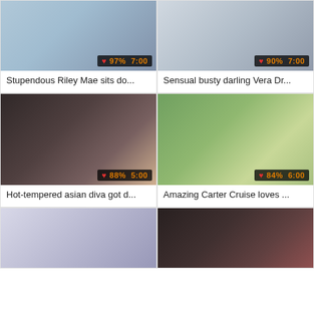[Figure (photo): Video thumbnail 1 - woman in light blue top]
Stupendous Riley Mae sits do...
[Figure (photo): Video thumbnail 2 - woman in striped top]
Sensual busty darling Vera Dr...
[Figure (photo): Video thumbnail 3 - asian diva]
Hot-tempered asian diva got d...
[Figure (photo): Video thumbnail 4 - Carter Cruise outdoors]
Amazing Carter Cruise loves ...
[Figure (photo): Video thumbnail 5 - partial view]
[Figure (photo): Video thumbnail 6 - woman in black]